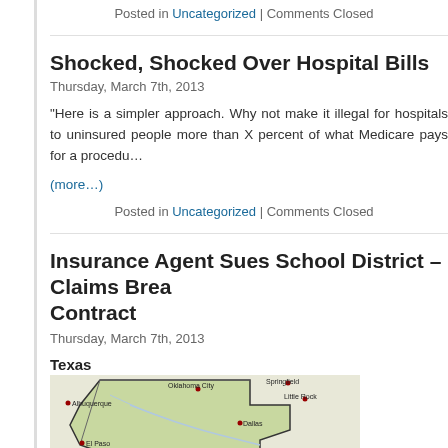Posted in Uncategorized | Comments Closed
Shocked, Shocked Over Hospital Bills
Thursday, March 7th, 2013
“Here is a simpler approach. Why not make it illegal for hospitals to uninsured people more than X percent of what Medicare pays for a procedu…
(more…)
Posted in Uncategorized | Comments Closed
Insurance Agent Sues School District – Claims Brea Contract
Thursday, March 7th, 2013
[Figure (map): Map of Texas showing surrounding states and cities including Albuquerque, Oklahoma City, Springfield, Little Rock, El Paso, Dallas, Austin, Houston]